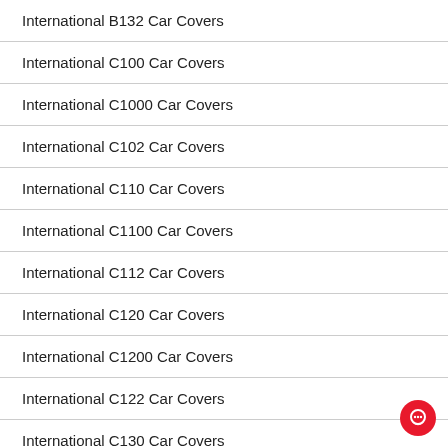International B132 Car Covers
International C100 Car Covers
International C1000 Car Covers
International C102 Car Covers
International C110 Car Covers
International C1100 Car Covers
International C112 Car Covers
International C120 Car Covers
International C1200 Car Covers
International C122 Car Covers
International C130 Car Covers
International C1300 Car Covers
International C132 Car Covers